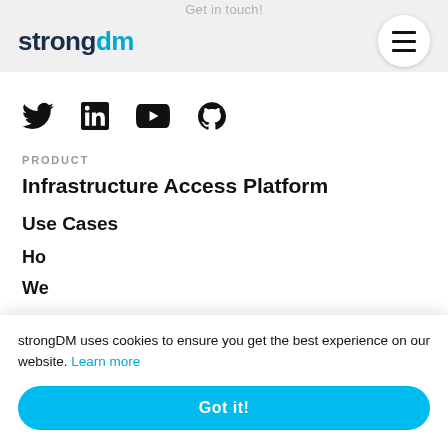Get in touch!
[Figure (logo): strongdm logo with 'strong' in dark navy and 'dm' in cyan blue]
[Figure (illustration): Hamburger menu button (three horizontal lines) in a white circle]
[Figure (illustration): Social media icons row: Twitter, LinkedIn, YouTube, GitHub]
PRODUCT
Infrastructure Access Platform
Use Cases
Ho
We
strongDM uses cookies to ensure you get the best experience on our website. Learn more
Got it!